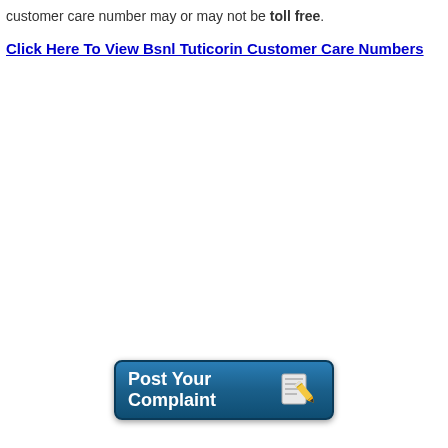customer care number may or may not be toll free.
Click Here To View Bsnl Tuticorin Customer Care Numbers
[Figure (other): A teal/blue rounded button with text 'Post Your Complaint' and a notepad-with-pencil icon on the right side.]